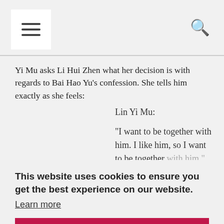[hamburger menu icon] [search icon]
Yi Mu asks Li Hui Zhen what her decision is with regards to Bai Hao Yu's confession. She tells him exactly as she feels:
Lin Yi Mu:
“I want to be together with him. I like him, so I want to be together with him.”
But until Xia Qiao's thought things through, Li Hui Zhen tells Lin Yi Mu that she will pretend like nothing ever happened.
This website uses cookies to ensure you get the best experience on our website.
Learn more
Got it!
[Figure (photo): Bottom strip showing a partial photo of a person]